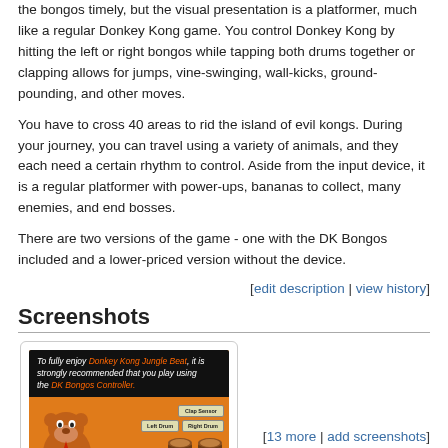the bongos timely, but the visual presentation is a platformer, much like a regular Donkey Kong game. You control Donkey Kong by hitting the left or right bongos while tapping both drums together or clapping allows for jumps, vine-swinging, wall-kicks, ground-pounding, and other moves.
You have to cross 40 areas to rid the island of evil kongs. During your journey, you can travel using a variety of animals, and they each need a certain rhythm to control. Aside from the input device, it is a regular platformer with power-ups, bananas to collect, many enemies, and end bosses.
There are two versions of the game - one with the DK Bongos included and a lower-priced version without the device.
[edit description | view history]
Screenshots
[Figure (screenshot): Screenshot from Donkey Kong Jungle Beat game showing text 'To fully enjoy Donkey Kong Jungle Beat, it is strongly recommended that you play using the DK Bongos Controller.' with Clap Sensor, Left Drum, Right Drum, and START/PAUSE button labels on an orange background with Donkey Kong character.]
[13 more | add screenshots]